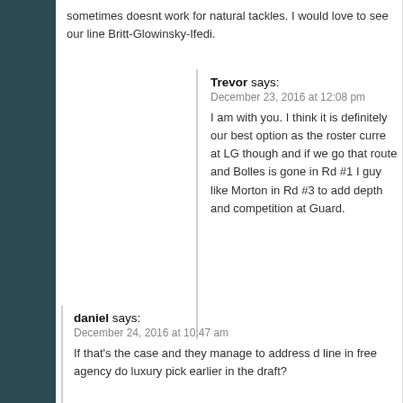sometimes doesnt work for natural tackles. I would love to see our line Britt-Glowinsky-Ifedi.
Trevor says:
December 23, 2016 at 12:08 pm
I am with you. I think it is definitely our best option as the roster curre at LG though and if we go that route and Bolles is gone in Rd #1 I guy like Morton in Rd #3 to add depth and competition at Guard.
daniel says:
December 24, 2016 at 10:47 am
If that's the case and they manage to address d line in free agency do luxury pick earlier in the draft?
Ground_Hawk says:
December 23, 2016 at 10:28 am
I know there is talk of Utah's (LT) Bolles going in the 1st, but what about his line next to him, (LG) Isaac Asiata? I have seen Asiata projected in the 5-6 ro
C-Dog says:
December 23, 2016 at 12:44 pm